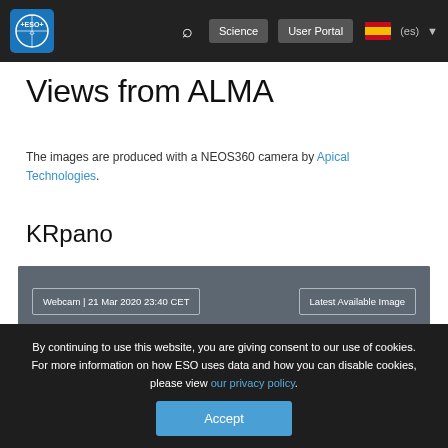ESO — Science | User Portal | (es)
Views from ALMA
The images are produced with a NEOS360 camera by Apical Technologies.
KRpano
[Figure (screenshot): Webcam viewer box with dark blue-grey background. Top bar shows 'Webcam | 21 Mar 2020 23:40 CET' on the left and 'Latest Available Image' on the right, both in bordered white text boxes. The main area is a dark grey gradient panel (the panoramic image viewer area).]
By continuing to use this website, you are giving consent to our use of cookies.
For more information on how ESO uses data and how you can disable cookies, please view our privacy policy.
Accept